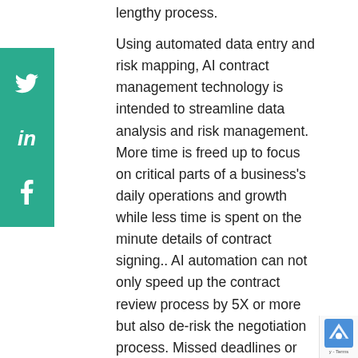lengthy process.
Using automated data entry and risk mapping, AI contract management technology is intended to streamline data analysis and risk management. More time is freed up to focus on critical parts of a business's daily operations and growth while less time is spent on the minute details of contract signing.. AI automation can not only speed up the contract review process by 5X or more but also de-risk the negotiation process. Missed deadlines or constant delays are far less common, and all versions and edits of contracts are saved and retrievable at all times.